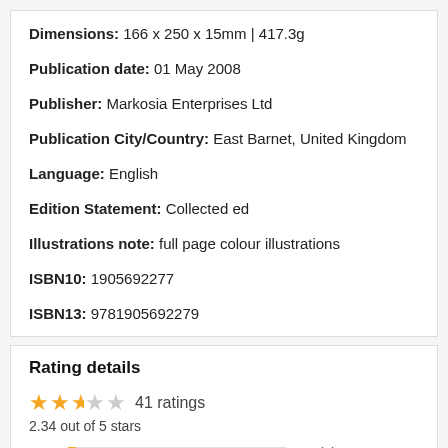Dimensions: 166 x 250 x 15mm | 417.3g
Publication date: 01 May 2008
Publisher: Markosia Enterprises Ltd
Publication City/Country: East Barnet, United Kingdom
Language: English
Edition Statement: Collected ed
Illustrations note: full page colour illustrations
ISBN10: 1905692277
ISBN13: 9781905692279
Rating details
41 ratings
2.34 out of 5 stars
5 ★ 2% (1)